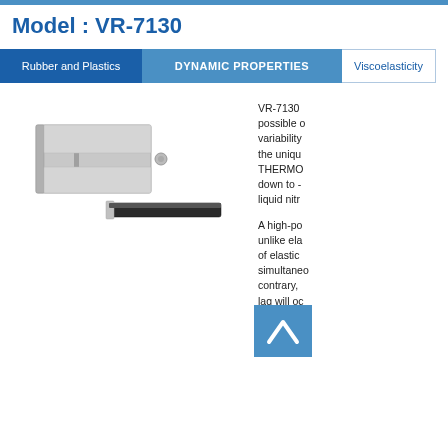Model : VR-7130
Rubber and Plastics
DYNAMIC PROPERTIES
Viscoelasticity
[Figure (photo): Product photo of VR-7130 instrument components - two silver metallic parts shown: a clamp/grip assembly and a flat specimen holder]
VR-7130 possible o variability the uniqu THERMO down to - liquid nitr
A high-po unlike ela of elastic simultaneo contrary, lag will oc relations a